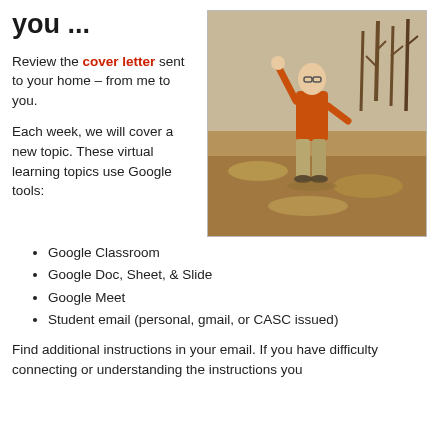you ...
Review the cover letter sent to your home – from me to you.
Each week, we will cover a new topic. These virtual learning topics use Google tools:
[Figure (photo): A man in an orange shirt and khaki pants standing outdoors in a dry field with trees in the background, waving his hand.]
Google Classroom
Google Doc, Sheet, & Slide
Google Meet
Student email (personal, gmail, or CASC issued)
Find additional instructions in your email. If you have difficulty connecting or understanding the instructions you